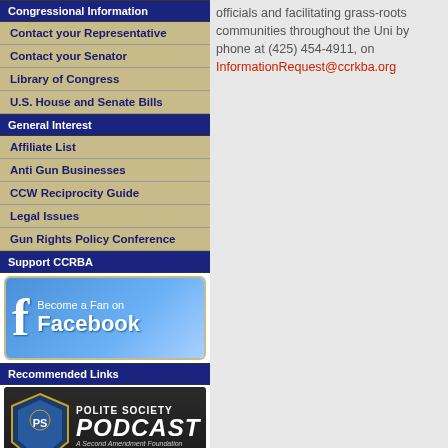Congressional Information
Contact your Representative
Contact your Senator
Library of Congress
U.S. House and Senate Bills
General Interest
Affiliate List
Anti Gun Businesses
CCW Reciprocity Guide
Legal Issues
Gun Rights Policy Conference
Support CCRBA
[Figure (screenshot): Become a Fan on Facebook banner]
Recommended Links
[Figure (screenshot): Polite Society Podcast - A Second Amendment Foundation Podcast banner]
[Figure (screenshot): Second Amendment Foundation logo with eagle]
officials and facilitating grass-roots communities throughout the Uni... by phone at (425) 454-4911, on InformationRequest@ccrkba.org